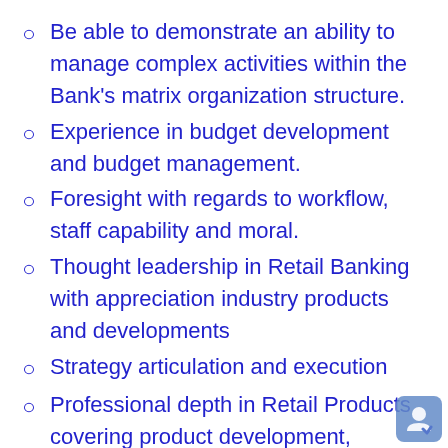Be able to demonstrate an ability to manage complex activities within the Bank's matrix organization structure.
Experience in budget development and budget management.
Foresight with regards to workflow, staff capability and moral.
Thought leadership in Retail Banking with appreciation industry products and developments
Strategy articulation and execution
Professional depth in Retail Products covering product development, acquisition, portfolio and risk management, marketing and